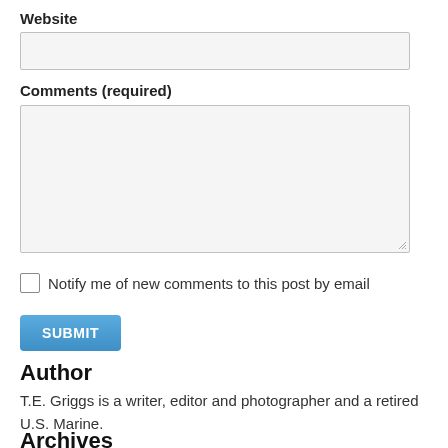Website
[Figure (other): Empty text input field for Website]
Comments (required)
[Figure (other): Large empty textarea for Comments]
Notify me of new comments to this post by email
[Figure (other): Submit button (blue)]
Author
T.E. Griggs is a writer, editor and photographer and a retired U.S. Marine.
Archives